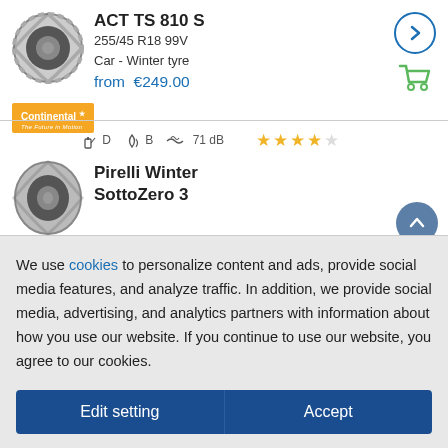[Figure (photo): Tire product image for Continental ACT TS 810 S]
ACT TS 810 S
255/45 R18 99V
Car - Winter tyre
from €249.00
[Figure (logo): Continental brand logo in orange]
[Figure (illustration): Right arrow circle button]
[Figure (illustration): Green shopping cart icon]
D  B  71 dB
[Figure (illustration): 4 out of 5 star rating]
[Figure (photo): Tire product image for Pirelli Winter SottoZero 3]
Pirelli Winter SottoZero 3
[Figure (illustration): Up arrow circle button]
[Figure (illustration): Heart/wishlist button]
We use cookies to personalize content and ads, provide social media features, and analyze traffic. In addition, we provide social media, advertising, and analytics partners with information about how you use our website. If you continue to use our website, you agree to our cookies.
Edit setting
Accept